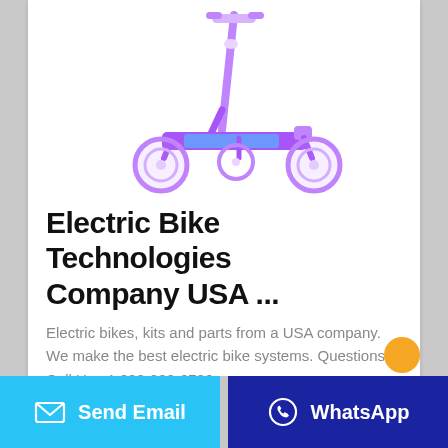[Figure (photo): Purple three-wheeled children's kick scooter with blue deck graphic, shown at an angle on white background.]
Electric Bike Technologies Company USA ...
Electric bikes, kits and parts from a USA company. We make the best electric bike systems. Questions? Call Us +1 888-220-6736.
Send Email | WhatsApp